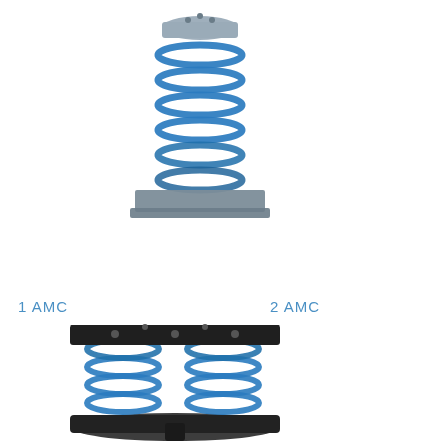[Figure (photo): Single spring vibration isolator (AMC type) with blue coil spring, metal top plate, and flat base plate]
1 AMC
2 AMC
[Figure (photo): Double spring vibration isolator (2 AMC type) with two blue coil springs side by side, black top plate with mounting holes, and black base]